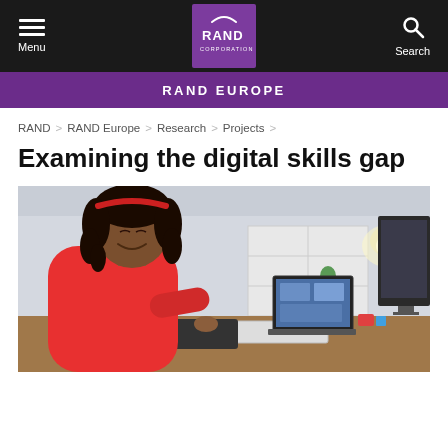Menu | RAND Corporation | Search
RAND EUROPE
RAND > RAND Europe > Research > Projects >
Examining the digital skills gap
[Figure (photo): A smiling woman with curly hair and a red headband wearing a red sweater, working at a desk with a drawing tablet, laptop, and desktop monitor in a bright office environment.]